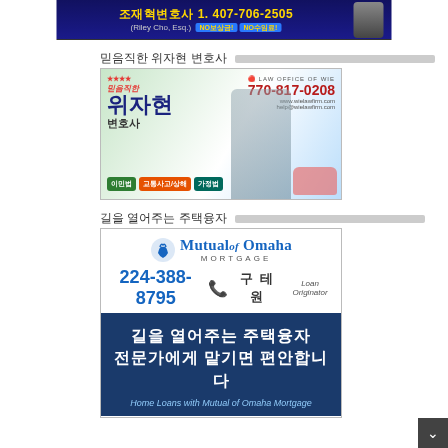[Figure (illustration): Top banner advertisement for 조재혁변호사 (Riley Cho, Esq.) with phone 1.407-706-2505 and text NO보상금! NO수임료!]
믿음직한 위자현 변호사
[Figure (photo): Advertisement for 위자현 변호사 (Law Office of Wie), phone 770-817-0208, website www.wielawfirm.com, email help@wielawfirm.com. Tags: 이민법, 교통사고/상해, 가정법. Photo of attorney in suit.]
길을 열어주는 주택융자
[Figure (illustration): Mutual of Omaha Mortgage advertisement. Phone 224-388-8795. 구테원 Loan Originator. Tagline: 길을 열어주는 주택융자 전문가에게 말기면 편안합니다. Home Loans with Mutual of Omaha Mortgage.]